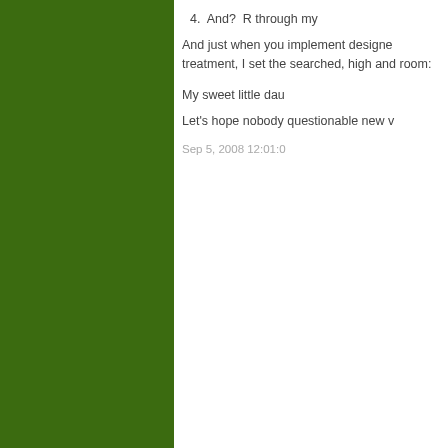[Figure (other): Dark green background occupying the left portion of the page]
4.  And?  R through my
And just when you implement designe treatment, I set the searched, high and room:
My sweet little dau
Let's hope nobody questionable new v
Sep 5, 2008 12:01:0
Comm
165 Comme
[Figure (photo): Avatar thumbnail showing a blue globe/leaf pattern icon]
Tha